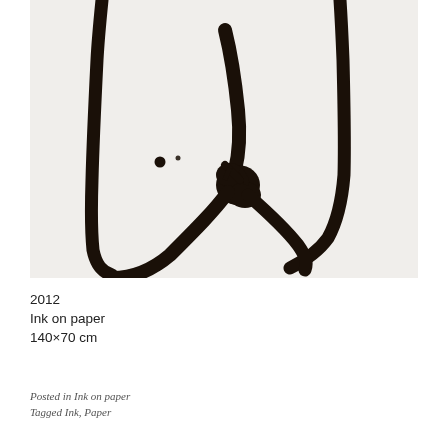[Figure (illustration): Abstract ink brushwork on light gray/white paper. Features bold black gestural strokes forming a loose figure-like composition: two vertical strokes on left and right sides curving at bottom to form a U shape, a diagonal brushstroke in the center, a central clustered mass of ink marks, and two small dots (one larger, one smaller) on the left side.]
2012
Ink on paper
140×70 cm
Posted in Ink on paper
Tagged Ink, Paper